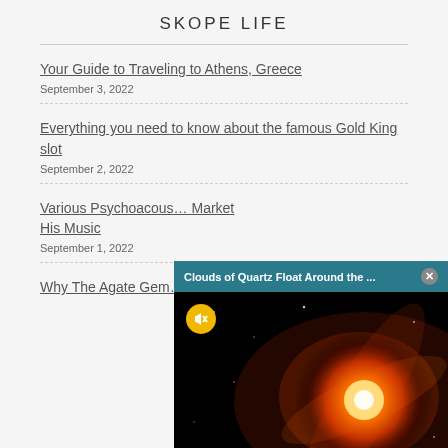SKOPE LIFE
Your Guide to Traveling to Athens, Greece
September 3, 2022
Everything you need to know about the famous Gold King slot
September 2, 2022
Various Psychoacous… Market His Music
September 1, 2022
Why The Agate Gem…
[Figure (screenshot): Popup video player with dark teal header reading 'Clouds of Quartz Float Around the ...' with close button, and video showing glowing orange/yellow star or nebula on black background, with yellow mute button in top-left of video area.]